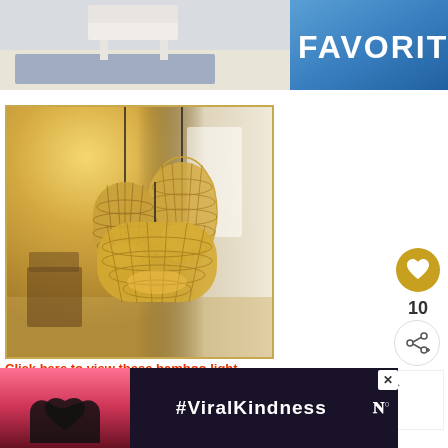[Figure (photo): Top banner showing a room interior with a rug and chair, with 'FAVORITES' text overlay on blue gradient background]
[Figure (photo): Three woven bamboo pendant light fixtures hanging in a warmly lit room with white curtains and window light]
10
[Figure (other): WHAT'S NEXT arrow with thumbnail and text '17 Fantastic Living Room...']
Click here to view these bamboo light fixtures on Amazon...
[Figure (photo): Bottom advertisement banner with heart hands silhouette and #ViralKindness text]